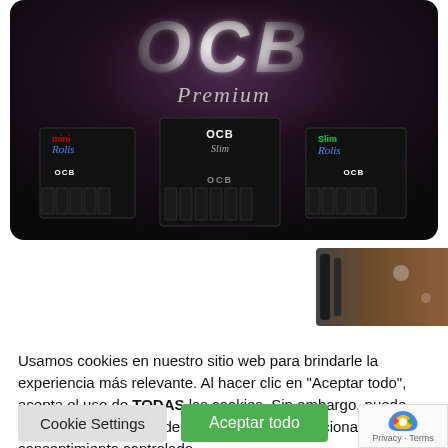[Figure (photo): OCB Premium rolling papers advertisement banner. Dark background with large white 3D OCB letters at top, 'Premium' in cursive script below, and three black product boxes displayed — mini Rolls on left, OCB Slim in center, and Slim Rolls on right.]
[Figure (photo): Partial second product image partially visible at right side, showing dark cylindrical product against brown background.]
Usamos cookies en nuestro sitio web para brindarle la experiencia más relevante. Al hacer clic en "Aceptar todo", acepta el uso de TODAS las cookies. Sin embargo, puede visitar "Configuración de cookies" para proporcionar un consentimiento controlado.